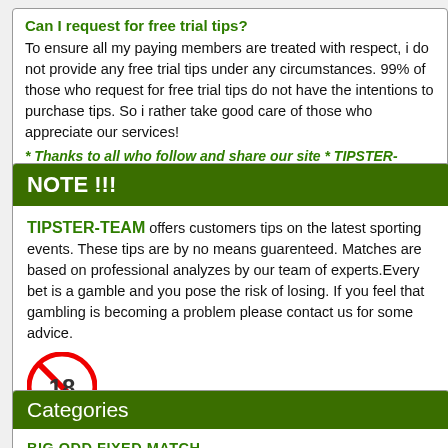Can I request for free trial tips?
To ensure all my paying members are treated with respect, i do not provide any free trial tips under any circumstances. 99% of those who request for free trial tips do not have the intentions to purchase tips. So i rather take good care of those who appreciate our services!
* Thanks to all who follow and share our site * TIPSTER-TEAM
NOTE !!!
TIPSTER-TEAM offers customers tips on the latest sporting events. These tips are by no means guarenteed. Matches are based on professional analyzes by our team of experts.Every bet is a gamble and you pose the risk of losing. If you feel that gambling is becoming a problem please contact us for some advice.
[Figure (illustration): 18+ age restriction circular logo with red border and slash, indicating content restricted to adults 18 and over.]
ATTENTION !!!
Re-sale of tips is strictly prohibited for secure our source.
Categories
BIG ODD FIXED MATCH